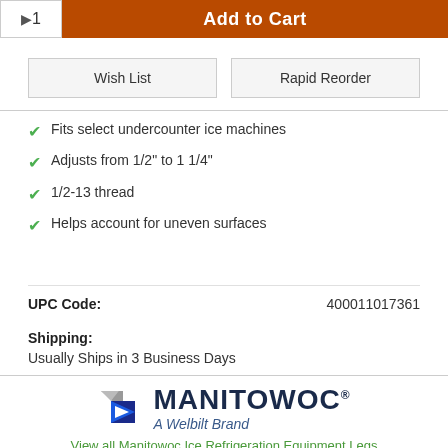Add to Cart
Wish List
Rapid Reorder
Fits select undercounter ice machines
Adjusts from 1/2" to 1 1/4"
1/2-13 thread
Helps account for uneven surfaces
UPC Code: 400011017361
Shipping: Usually Ships in 3 Business Days
[Figure (logo): Manitowoc logo with arrow icon and tagline 'A Welbilt Brand']
View all Manitowoc Ice Refrigeration Equipment Legs